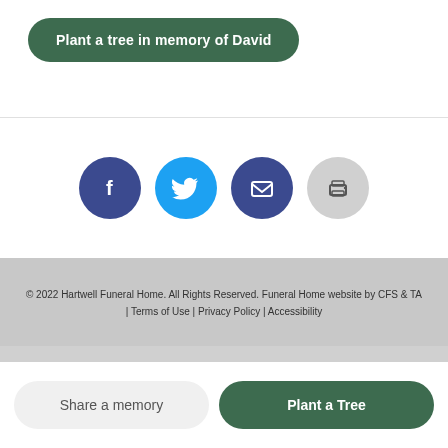Plant a tree in memory of David
[Figure (other): Social sharing icons: Facebook (dark blue circle), Twitter (light blue circle), Email (dark blue circle), Print (gray circle)]
© 2022 Hartwell Funeral Home. All Rights Reserved. Funeral Home website by CFS & TA | Terms of Use | Privacy Policy | Accessibility
Share a memory
Plant a Tree